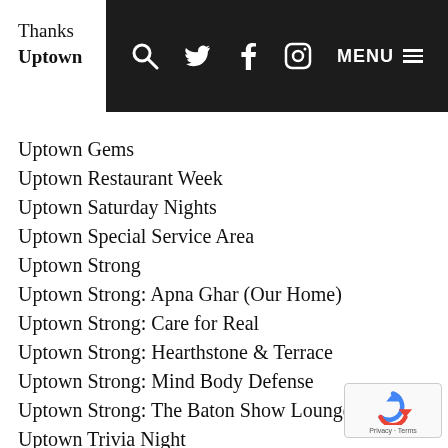Navigation bar with search, Twitter, Facebook, Instagram icons and MENU
Thanks
Uptown
Uptown Gems
Uptown Restaurant Week
Uptown Saturday Nights
Uptown Special Service Area
Uptown Strong
Uptown Strong: Apna Ghar (Our Home)
Uptown Strong: Care for Real
Uptown Strong: Hearthstone & Terrace
Uptown Strong: Mind Body Defense
Uptown Strong: The Baton Show Lounge
Uptown Trivia Night
Uptown Volunteer Opportunities
Uptown Walking Tours
Uptown Wellness W...